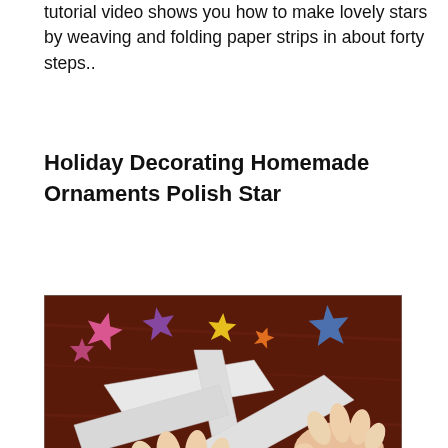tutorial video shows you how to make lovely stars by weaving and folding paper strips in about forty steps..
Holiday Decorating Homemade Ornaments Polish Star
[Figure (photo): A photo showing two hands weaving white paper strips on a dark wooden surface, with colorful paper stars (pink, purple, orange, yellow, blue) scattered in the background.]